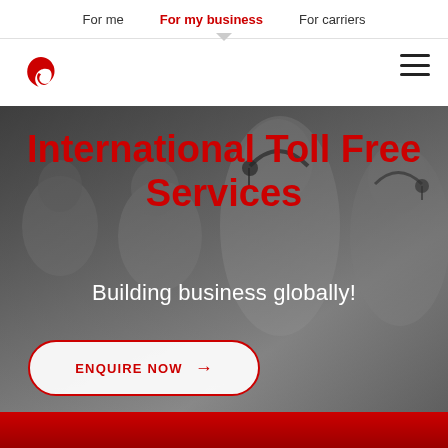For me  |  For my business  |  For carriers
[Figure (logo): Airtel red swirl logo]
International Toll Free Services
Building business globally!
ENQUIRE NOW →
[Figure (photo): Call center agents wearing headsets, multiple people in a row, grayscale-toned background photo]